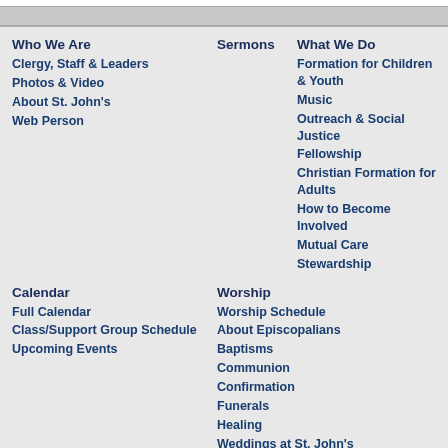Who We Are
Clergy, Staff & Leaders
Photos & Video
About St. John's
Web Person
Sermons
What We Do
Formation for Children & Youth
Music
Outreach & Social Justice
Fellowship
Christian Formation for Adults
How to Become Involved
Mutual Care
Stewardship
Calendar
Full Calendar
Class/Support Group Schedule
Upcoming Events
Worship
Worship Schedule
About Episcopalians
Baptisms
Communion
Confirmation
Funerals
Healing
Weddings at St. John's
For Visitors
About Episcopalians
Newcomers
Becoming a Member
Our Publications
Resources
Forms & Downloads
Memorial Garden
Space Use
Weddings
Pay Online
Contact Us
Reviews